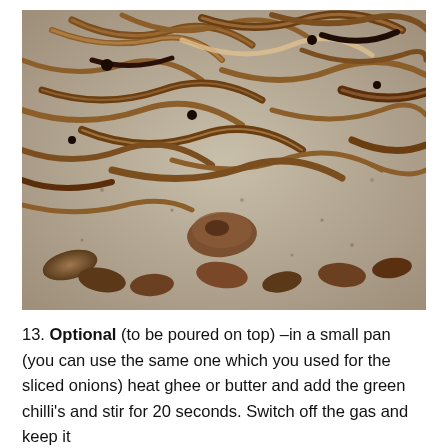[Figure (photo): Close-up photograph of caramelized or fried sliced onions and mushroom pieces spread on a light-colored surface or pan, showing golden-brown and darkened pieces.]
13. Optional (to be poured on top) –in a small pan (you can use the same one which you used for the sliced onions) heat ghee or butter and add the green chilli's and stir for 20 seconds. Switch off the gas and keep it